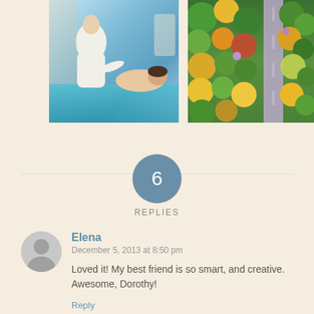[Figure (photo): Spa scene: two women in white robes near pool, one giving a massage]
[Figure (photo): Aerial view of colorful autumn forest with a road running through it]
6
REPLIES
Elena
December 5, 2013 at 8:50 pm
Loved it! My best friend is so smart, and creative. Awesome, Dorothy!
Reply